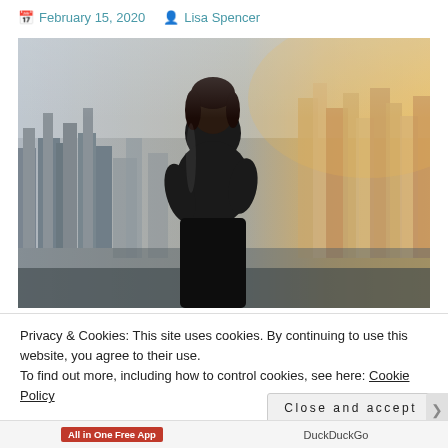February 15, 2020   Lisa Spencer
[Figure (photo): Silhouette of a woman with short hair standing with arms crossed, looking out over a city skyline. Left side is black and white; right side has warm golden tones from sunlight.]
Privacy & Cookies: This site uses cookies. By continuing to use this website, you agree to their use.
To find out more, including how to control cookies, see here: Cookie Policy